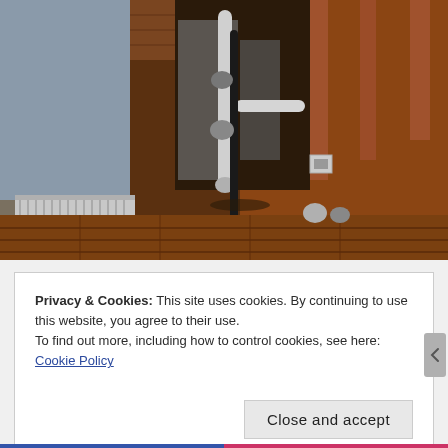[Figure (photo): Interior photo showing exposed pipes, wooden framing, hardwood floors, and a baseboard heater in what appears to be a home renovation or inspection context. The walls are partially open revealing structural framing and plumbing pipes.]
Privacy & Cookies: This site uses cookies. By continuing to use this website, you agree to their use.
To find out more, including how to control cookies, see here: Cookie Policy
Close and accept